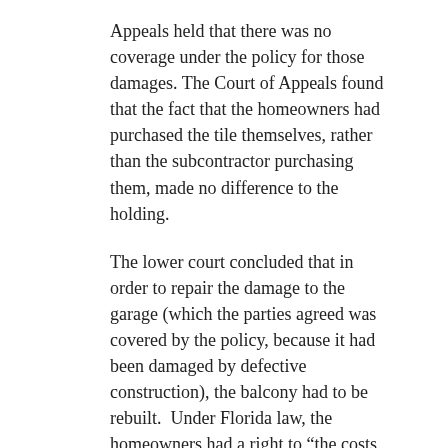Appeals held that there was no coverage under the policy for those damages. The Court of Appeals found that the fact that the homeowners had purchased the tile themselves, rather than the subcontractor purchasing them, made no difference to the holding.
The lower court concluded that in order to repair the damage to the garage (which the parties agreed was covered by the policy, because it had been damaged by defective construction), the balcony had to be rebuilt.  Under Florida law, the homeowners had a right to “the costs of repairing damage caused by the defective work….”. Since the court determined that it was necessary to remove the balcony to repair the garage, the Court of Appeals agreed that the homeowners were entitled to the cost of repairing the balcony and that this was covered under the builder’s policy
Although the damage to the garage included wood rot